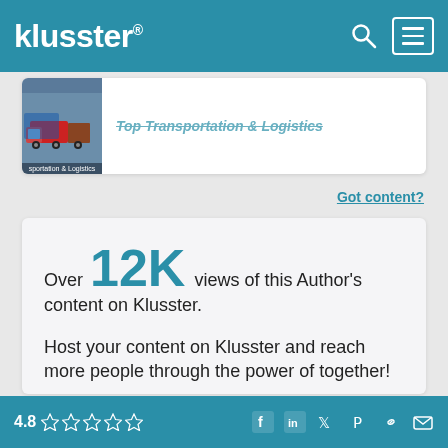klusster®
[Figure (screenshot): Partially visible card showing Top Transportation & Logistics with truck image thumbnail]
Got content?
Over 12K views of this Author's content on Klusster.
Host your content on Klusster and reach more people through the power of together!
Learn More
4.8 ☆☆☆☆☆